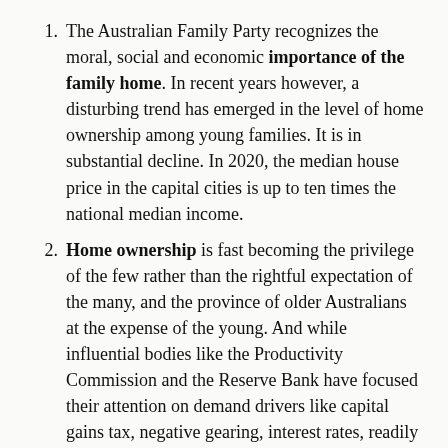The Australian Family Party recognizes the moral, social and economic importance of the family home. In recent years however, a disturbing trend has emerged in the level of home ownership among young families. It is in substantial decline. In 2020, the median house price in the capital cities is up to ten times the national median income.
Home ownership is fast becoming the privilege of the few rather than the rightful expectation of the many, and the province of older Australians at the expense of the young. And while influential bodies like the Productivity Commission and the Reserve Bank have focused their attention on demand drivers like capital gains tax, negative gearing, interest rates, readily accessible finance, first